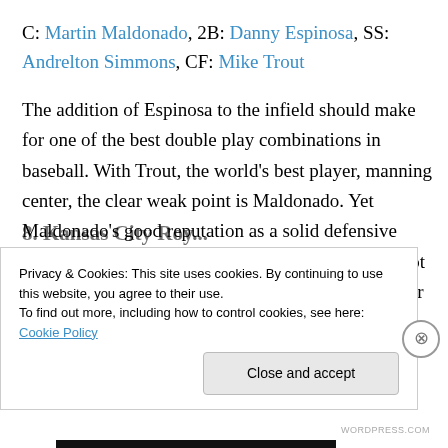C: Martin Maldonado, 2B: Danny Espinosa, SS: Andrelton Simmons, CF: Mike Trout
The addition of Espinosa to the infield should make for one of the best double play combinations in baseball. With Trout, the world's best player, manning center, the clear weak point is Maldonado. Yet Maldonado's good reputation as a solid defensive backstop behind Jonathan Lucroy in Milwaukee kept the Angels out of the offseason catching market after their mid-December trade for him.
Privacy & Cookies: This site uses cookies. By continuing to use this website, you agree to their use.
To find out more, including how to control cookies, see here: Cookie Policy